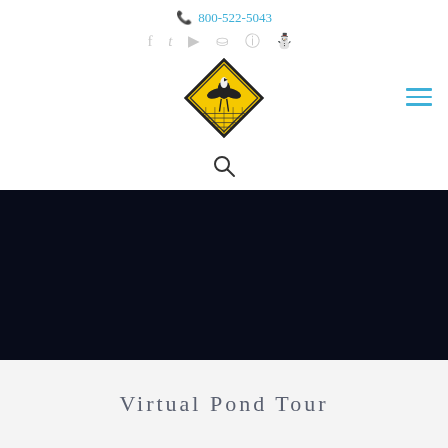📞 800-522-5043
[Figure (logo): Diamond-shaped logo with yellow background, black border, showing a bird/heron over water with grid lines]
Virtual Pond Tour